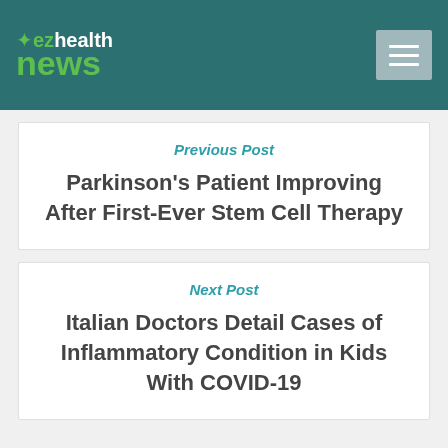[Figure (logo): ezhealthnews logo with green leaf and text on teal header bar]
Previous Post
Parkinson's Patient Improving After First-Ever Stem Cell Therapy
Next Post
Italian Doctors Detail Cases of Inflammatory Condition in Kids With COVID-19